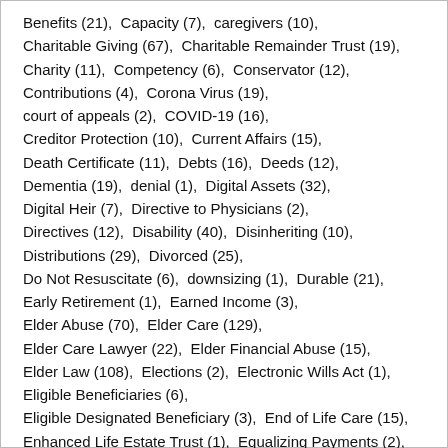Benefits (21),  Capacity (7),  caregivers (10),  Charitable Giving (67),  Charitable Remainder Trust (19),  Charity (11),  Competency (6),  Conservator (12),  Contributions (4),  Corona Virus (19),  court of appeals (2),  COVID-19 (16),  Creditor Protection (10),  Current Affairs (15),  Death Certificate (11),  Debts (16),  Deeds (12),  Dementia (19),  denial (1),  Digital Assets (32),  Digital Heir (7),  Directive to Physicians (2),  Directives (12),  Disability (40),  Disinheriting (10),  Distributions (29),  Divorced (25),  Do Not Resuscitate (6),  downsizing (1),  Durable (21),  Early Retirement (1),  Earned Income (3),  Elder Abuse (70),  Elder Care (129),  Elder Care Lawyer (22),  Elder Financial Abuse (15),  Elder Law (108),  Elections (2),  Electronic Wills Act (1),  Eligible Beneficiaries (6),  Eligible Designated Beneficiary (3),  End of Life Care (15),  Enhanced Life Estate Trust (1),  Equalizing Payments (2),  Estate Administration (9),  Estate and Gift Tax Exemptions (13),  Estate Executor (68),  Estate Planning (936),  Estate Planning Attorney (432),  Estate Sale (11)